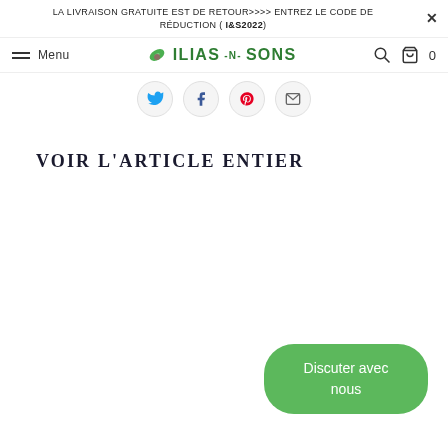LA LIVRAISON GRATUITE EST DE RETOUR>>>> ENTREZ LE CODE DE RÉDUCTION ( I&S2022)
[Figure (screenshot): Website navigation bar with hamburger menu, Menu text, ILIAS-N-SONS logo with olive leaf icon, search icon, cart icon and 0 count]
[Figure (infographic): Row of four circular social share buttons: Twitter (blue bird), Facebook (f), Pinterest (red flag), and email/share icon]
VOIR L'ARTICLE ENTIER
[Figure (infographic): Green rounded rectangle chat button reading 'Discuter avec nous']